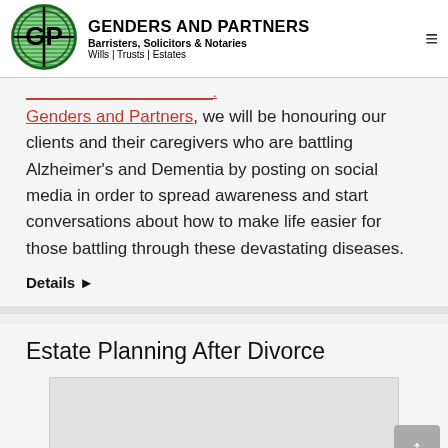GENDERS AND PARTNERS Barristers, Solicitors & Notaries Wills | Trusts | Estates
Genders and Partners, we will be honouring our clients and their caregivers who are battling Alzheimer's and Dementia by posting on social media in order to spread awareness and start conversations about how to make life easier for those battling through these devastating diseases.
Details ▶
Estate Planning After Divorce
[Figure (photo): Placeholder image for Estate Planning After Divorce article]